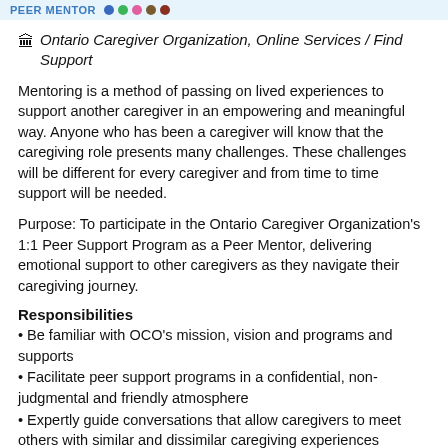PEER MENTOR
🏛 Ontario Caregiver Organization, Online Services / Find Support
Mentoring is a method of passing on lived experiences to support another caregiver in an empowering and meaningful way. Anyone who has been a caregiver will know that the caregiving role presents many challenges. These challenges will be different for every caregiver and from time to time support will be needed.
Purpose: To participate in the Ontario Caregiver Organization's 1:1 Peer Support Program as a Peer Mentor, delivering emotional support to other caregivers as they navigate their caregiving journey.
Responsibilities
• Be familiar with OCO's mission, vision and programs and supports
• Facilitate peer support programs in a confidential, non-judgmental and friendly atmosphere
• Expertly guide conversations that allow caregivers to meet others with similar and dissimilar caregiving experiences
• Offer support and guidance on matters that help caregivers in their journey